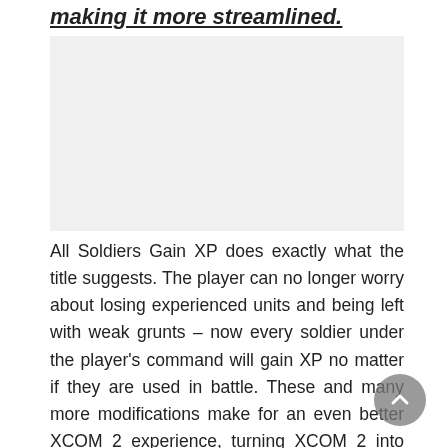making it more streamlined.
[Figure (other): Blank/empty image area (content not visible)]
All Soldiers Gain XP does exactly what the title suggests. The player can no longer worry about losing experienced units and being left with weak grunts – now every soldier under the player's command will gain XP no matter if they are used in battle. These and many more modifications make for an even better XCOM 2 experience, turning XCOM 2 into one of the